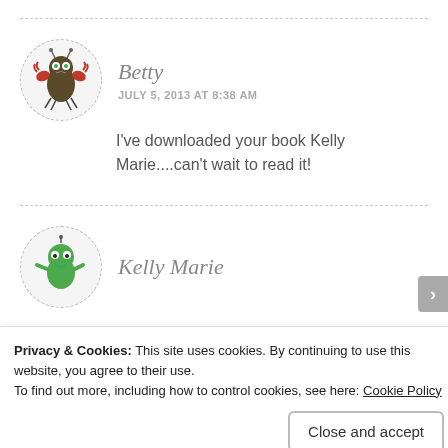[Figure (illustration): Avatar icon of Betty: cartoon bug/monster with red claws, green/brown body, antennae, inside a dashed circle]
Betty
JULY 5, 2013 AT 8:38 AM
I've downloaded your book Kelly Marie....can't wait to read it!
[Figure (illustration): Avatar icon of Kelly Marie: green cartoon alien/monster with small antenna, inside a dashed circle]
Kelly Marie
Privacy & Cookies:  This site uses cookies. By continuing to use this website, you agree to their use.
To find out more, including how to control cookies, see here: Cookie Policy
Close and accept